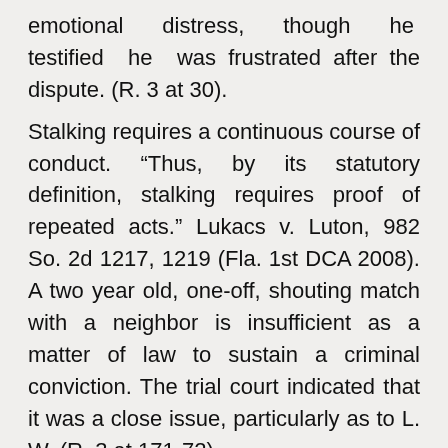emotional distress, though he testified he was frustrated after the dispute. (R. 3 at 30).
Stalking requires a continuous course of conduct. “Thus, by its statutory definition, stalking requires proof of repeated acts.” Lukacs v. Luton, 982 So. 2d 1217, 1219 (Fla. 1st DCA 2008). A two year old, one-off, shouting match with a neighbor is insufficient as a matter of law to sustain a criminal conviction. The trial court indicated that it was a close issue, particularly as to L. W. (R. 3 at 171-72).
As to J. W., “courts have generally held that contact is legitimate when there is a reason for the contact other than to harass the victim.” O’Neill v. Goodwin, 195 So. 3d 411, 413 (Fla. 4th DCA 2016). Although the Appellant has no burden, there was a plethora of evidence for the fact that the